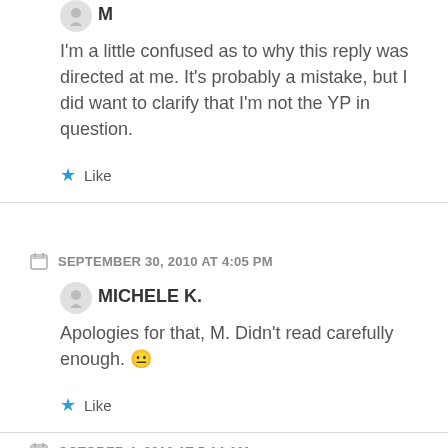M
I'm a little confused as to why this reply was directed at me. It's probably a mistake, but I did want to clarify that I'm not the YP in question.
★ Like
SEPTEMBER 30, 2010 AT 4:05 PM
MICHELE K.
Apologies for that, M. Didn't read carefully enough. 😐
★ Like
OCTOBER 4, 2010 AT 5:14 AM